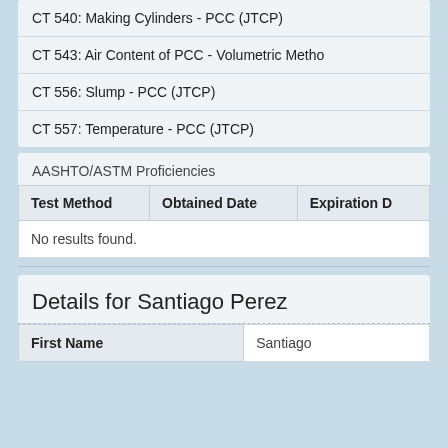CT 540: Making Cylinders - PCC (JTCP)
CT 543: Air Content of PCC - Volumetric Metho
CT 556: Slump - PCC (JTCP)
CT 557: Temperature - PCC (JTCP)
AASHTO/ASTM Proficiencies
| Test Method | Obtained Date | Expiration D |
| --- | --- | --- |
| No results found. |  |  |
Details for Santiago Perez
| First Name | Santiago |
| --- | --- |